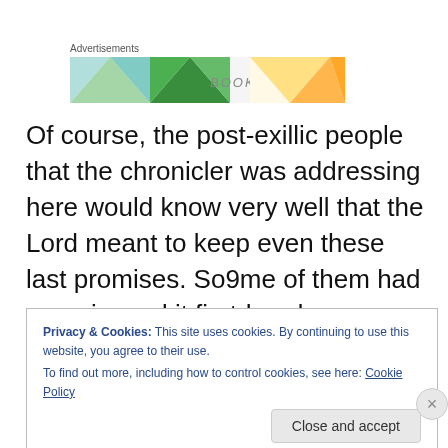[Figure (illustration): Advertisement banner with colorful geometric triangle pattern and the word BOOK visible]
Of course, the post-exillic people that the chronicler was addressing here would know very well that the Lord meant to keep even these last promises. So9me of them had experienced it first-hand.
Privacy & Cookies: This site uses cookies. By continuing to use this website, you agree to their use.
To find out more, including how to control cookies, see here: Cookie Policy
Close and accept